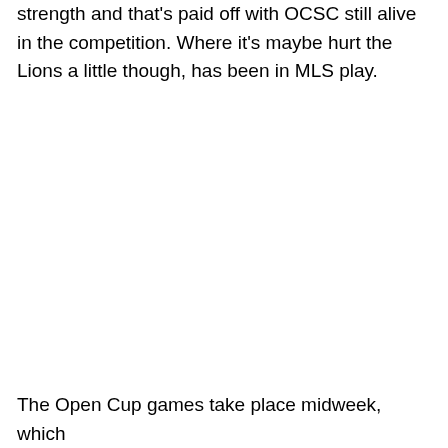strength and that's paid off with OCSC still alive in the competition. Where it's maybe hurt the Lions a little though, has been in MLS play.
The Open Cup games take place midweek, which